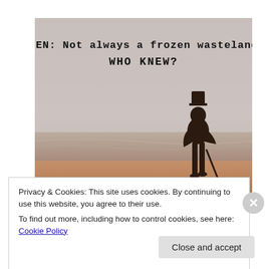[Figure (photo): A sepia-toned atmospheric photo of a silhouetted man in a top hat holding a cane, standing on a misty beach. Text overlaid on the image reads: 'SWEDEN: Not always a frozen wasteland... WHO KNEW?']
Privacy & Cookies: This site uses cookies. By continuing to use this website, you agree to their use.
To find out more, including how to control cookies, see here: Cookie Policy
Close and accept